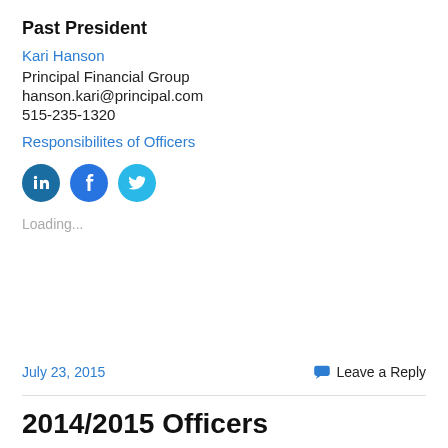Past President
Kari Hanson
Principal Financial Group
hanson.kari@principal.com
515-235-1320
Responsibilites of Officers
[Figure (infographic): Three circular social media icon buttons: LinkedIn (dark blue), Facebook (medium blue), Twitter (light blue)]
Loading...
July 23, 2015   Leave a Reply
2014/2015 Officers